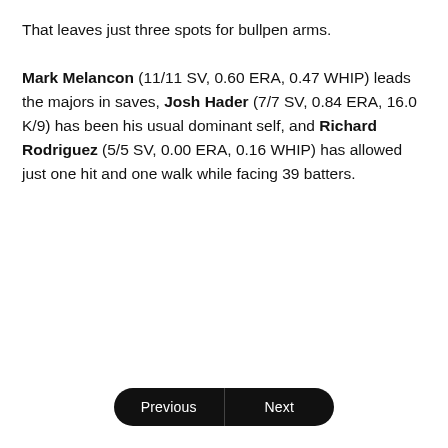That leaves just three spots for bullpen arms. Mark Melancon (11/11 SV, 0.60 ERA, 0.47 WHIP) leads the majors in saves, Josh Hader (7/7 SV, 0.84 ERA, 16.0 K/9) has been his usual dominant self, and Richard Rodriguez (5/5 SV, 0.00 ERA, 0.16 WHIP) has allowed just one hit and one walk while facing 39 batters.